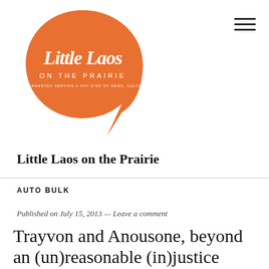[Figure (logo): Orange speech bubble logo with cursive text 'Little Laos ON THE PRAIRIE' and small tagline text]
Little Laos on the Prairie
AUTO BULK
Published on July 15, 2013 — Leave a comment
Trayvon and Anousone, beyond an (un)reasonable (in)justice